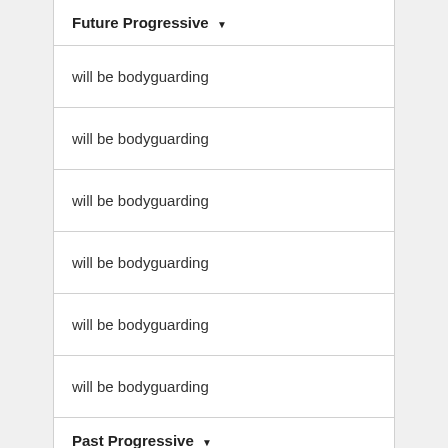Future Progressive
will be bodyguarding
will be bodyguarding
will be bodyguarding
will be bodyguarding
will be bodyguarding
will be bodyguarding
Past Progressive
was bodyguarding